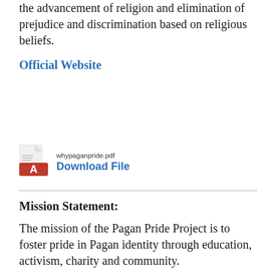the advancement of religion and elimination of prejudice and discrimination based on religious beliefs.
Official Website
[Figure (other): PDF file icon (Adobe Acrobat red logo style)]
whypaganpride.pdf
Download File
Mission Statement:
The mission of the Pagan Pride Project is to foster pride in Pagan identity through education, activism, charity and community.
Defining the Mission Statement: